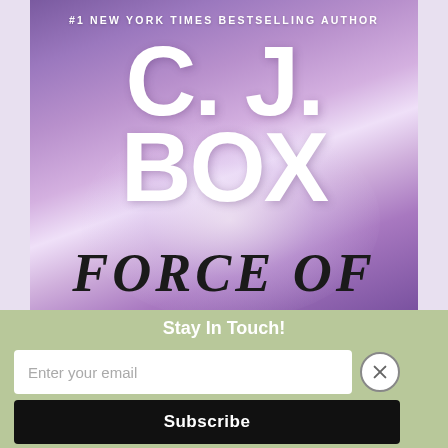[Figure (illustration): Book cover for 'Force of' by C.J. Box. Purple/lavender gradient background with white glow in center. Author name 'C. J. BOX' in large bold white text. '#1 NEW YORK TIMES BESTSELLING AUTHOR' at top. 'FORCE OF' in large black serif italic text at bottom of cover.]
Stay In Touch!
Enter your email
Subscribe